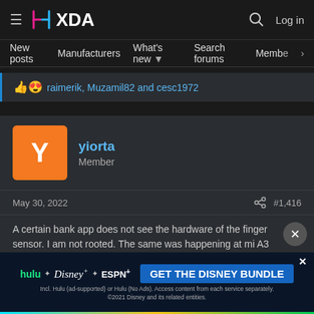XDA Developers forum header with hamburger menu, XDA logo, search icon, and Log in link
New posts  Manufacturers  What's new  Search forums  Members  >
raimerik, Muzamil82 and cesc1972
yiorta
Member
May 30, 2022  #1,416
A certain bank app does not see the hardware of the finger sensor. I am not rooted. The same was happening at mi A3 at another discussion and the had t
[Figure (screenshot): GET THE DISNEY BUNDLE advertisement banner with Hulu, Disney+ and ESPN+ logos]